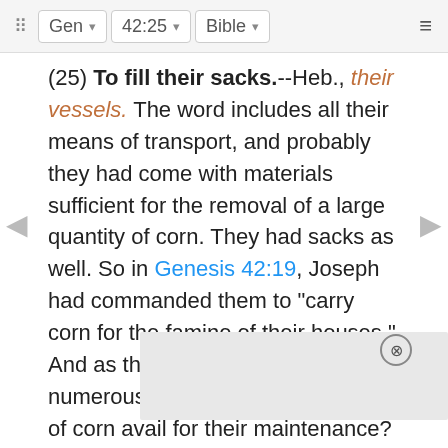Gen  42:25  Bible
(25) To fill their sacks.--Heb., their vessels. The word includes all their means of transport, and probably they had come with materials sufficient for the removal of a large quantity of corn. They had sacks as well. So in Genesis 42:19, Joseph had commanded them to "carry corn for the famine of their houses." And as their households were numerous, what would nine sacks of corn avail for their maintenance?
To restore every man's money into his sack.--It is evident that each one had made his own separate purchase for his own household. The restoration of the money frightened Joseph's brethren, as they saw in it a pretext for their detention on their next visit. But Joseph could not have [text obscured]ould act as